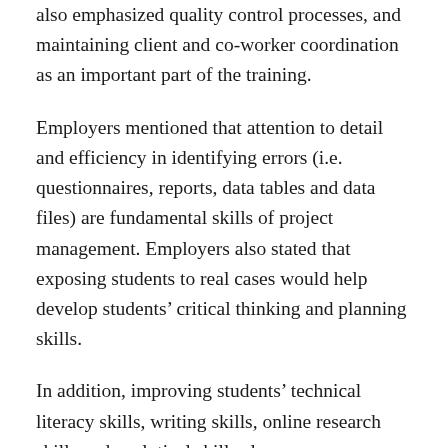also emphasized quality control processes, and maintaining client and co-worker coordination as an important part of the training.
Employers mentioned that attention to detail and efficiency in identifying errors (i.e. questionnaires, reports, data tables and data files) are fundamental skills of project management. Employers also stated that exposing students to real cases would help develop students' critical thinking and planning skills.
In addition, improving students' technical literacy skills, writing skills, online research skills and analytical skills also came up frequently among employers. Finally, some of the employers suggested that in order to better